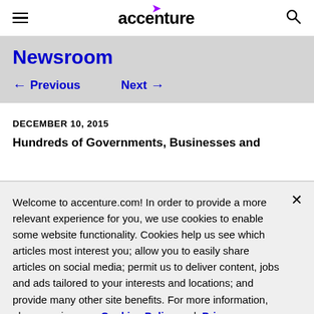accenture (with hamburger menu and search icon)
Newsroom
← Previous   Next →
DECEMBER 10, 2015
Hundreds of Governments, Businesses and...
Welcome to accenture.com! In order to provide a more relevant experience for you, we use cookies to enable some website functionality. Cookies help us see which articles most interest you; allow you to easily share articles on social media; permit us to deliver content, jobs and ads tailored to your interests and locations; and provide many other site benefits. For more information, please review our Cookies Policy and Privacy Statement.